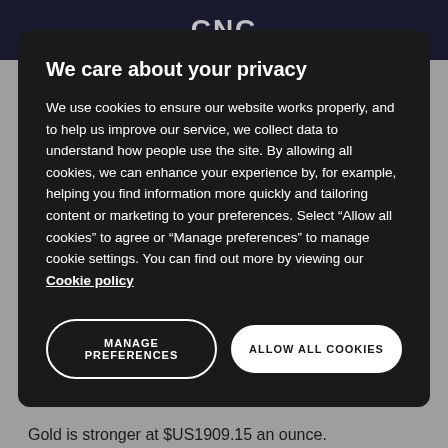We care about your privacy
We use cookies to ensure our website works properly, and to help us improve our service, we collect data to understand how people use the site. By allowing all cookies, we can enhance your experience by, for example, helping you find information more quickly and tailoring content or marketing to your preferences. Select “Allow all cookies” to agree or “Manage preferences” to manage cookie settings. You can find out more by viewing our Cookie policy
MANAGE PREFERENCES
ALLOW ALL COOKIES
Bitcoin is at $US36,513.
Gold is stronger at $US1909.15 an ounce.